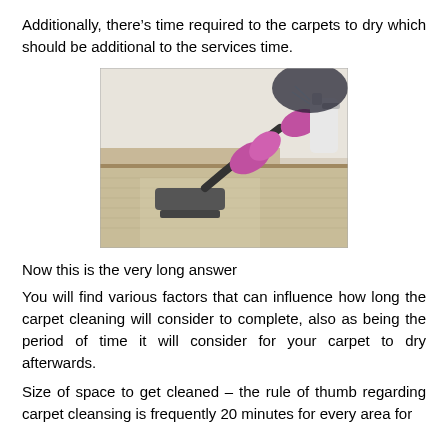Additionally, there’s time required to the carpets to dry which should be additional to the services time.
[Figure (photo): Person wearing pink rubber gloves using a vacuum/steam cleaning attachment on a beige carpet, holding a spray bottle in the other hand, near a baseboard.]
Now this is the very long answer
You will find various factors that can influence how long the carpet cleaning will consider to complete, also as being the period of time it will consider for your carpet to dry afterwards.
Size of space to get cleaned – the rule of thumb regarding carpet cleansing is frequently 20 minutes for every area for